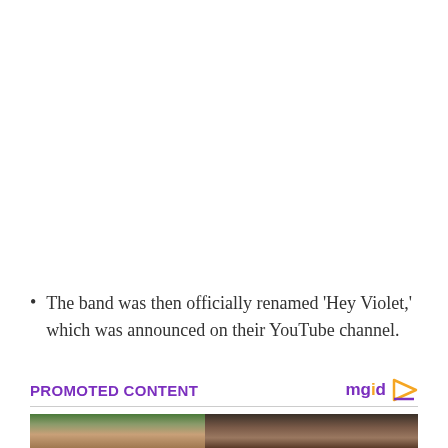The band was then officially renamed ‘Hey Violet,’ which was announced on their YouTube channel.
PROMOTED CONTENT
[Figure (photo): A promotional photo showing two people outdoors, with palm trees and a brick wall visible in the background.]